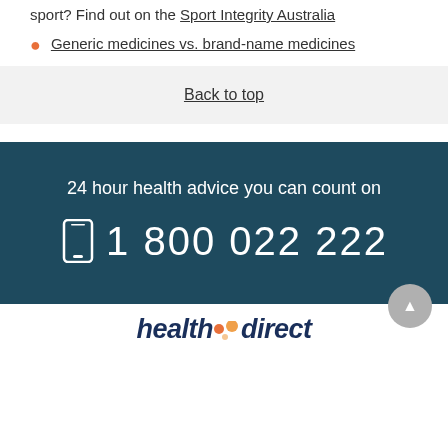sport? Find out on the Sport Integrity Australia
Generic medicines vs. brand-name medicines
Back to top
24 hour health advice you can count on
1800 022 222
[Figure (logo): healthdirect logo with orange dots]